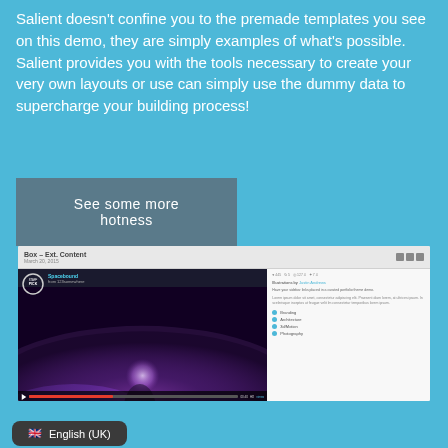Salient doesn't confine you to the premade templates you see on this demo, they are simply examples of what's possible. Salient provides you with the tools necessary to create your very own layouts or use can simply use the dummy data to supercharge your building process!
See some more hotness
[Figure (screenshot): Screenshot of a website UI showing a portfolio item titled 'Box – Ext. Content' with a Vimeo video embed featuring a 'Staff Pick' badge and video titled 'Spacebound', alongside a sidebar with author info, description, and category tags including Branding, Architecture, 3D/Motion, Photography]
English (UK)